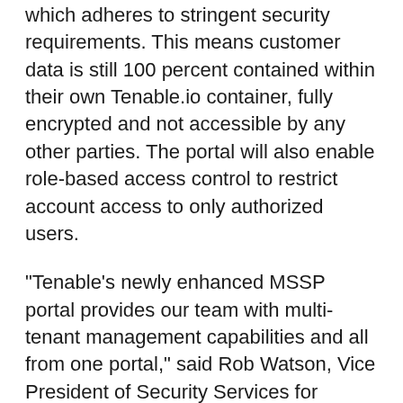which adheres to stringent security requirements. This means customer data is still 100 percent contained within their own Tenable.io container, fully encrypted and not accessible by any other parties. The portal will also enable role-based access control to restrict account access to only authorized users.
"Tenable's newly enhanced MSSP portal provides our team with multi-tenant management capabilities and all from one portal," said Rob Watson, Vice President of Security Services for eSentire, a leading global Managed Detection and Response (MDR) security services provider. "For example, we can log into all of our customers' cloud containers, and it greatly reduces the need to manage multiple